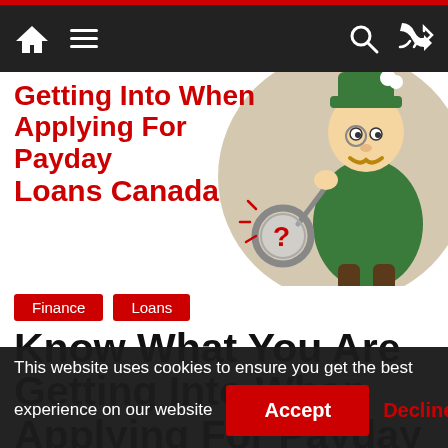Navigation bar with home, menu, search, and shuffle icons
[Figure (illustration): Hero image with bold red text reading 'Getting Into When Applying For Payday Loans Canada' on the left, and a cartoon detective character with a magnifying glass and question mark on the right, against a beige circle background.]
Finance
Loans
Know What You Are Getting Into When Applying For Payday
This website uses cookies to ensure you get the best experience on our website
Accept
Decline